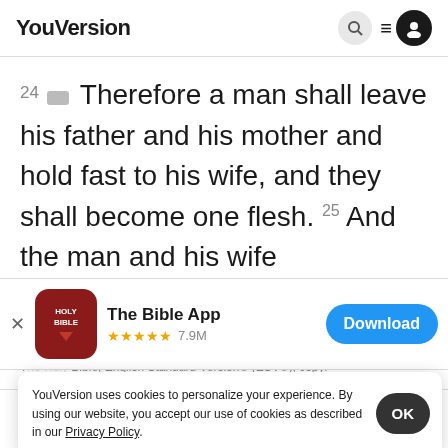YouVersion
24 Therefore a man shall leave his father and his mother and hold fast to his wife, and they shall become one flesh. 25 And the man and his wife
[Figure (screenshot): App store banner for The Bible App with Holy Bible icon, 5 stars, 7.9M ratings, and Download button]
The Holy Bible, English Standard Version® (ESV®), copyr 2001 by C Publishers Sign up to
YouVersion uses cookies to personalize your experience. By using our website, you accept our use of cookies as described in our Privacy Policy.
Home  Bible  Plans  Videos